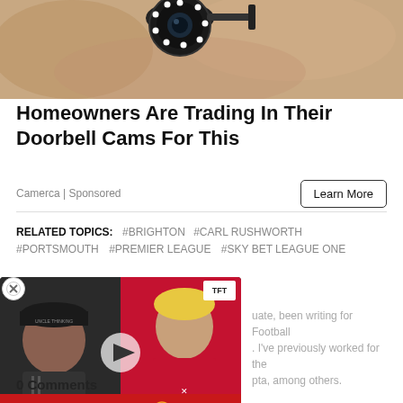[Figure (photo): Close-up photo of a security camera mounted in a wall/ceiling, sandy/concrete colored surface visible]
Homeowners Are Trading In Their Doorbell Cams For This
Camerca | Sponsored
Learn More
RELATED TOPICS: #BRIGHTON #CARL RUSHWORTH #PORTSMOUTH #PREMIER LEAGUE #SKY BET LEAGUE ONE
Toby Wilding
[Figure (screenshot): Video thumbnail showing football transfer news - ANTONY DEAL AGREED!! AJAX TO MAN UNITED, with two men visible and a Manchester United player]
...uate, been writing for Football ... I've previously worked for the ...pta, among others.
0 Comments